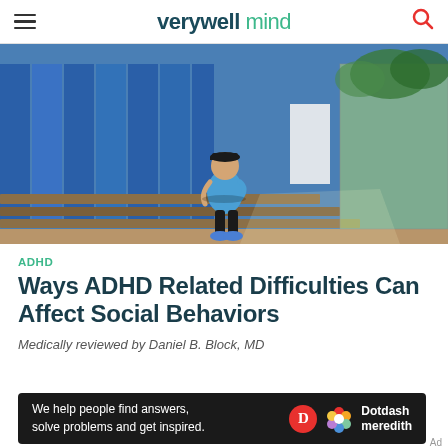verywell mind
[Figure (photo): A young child in a baseball cap sitting alone on bleachers near a blue fence and chain-link, appearing isolated]
ADHD
Ways ADHD Related Difficulties Can Affect Social Behaviors
Medically reviewed by Daniel B. Block, MD
We help people find answers, solve problems and get inspired.
[Figure (logo): Dotdash Meredith logo with orange D icon and colorful flower icon]